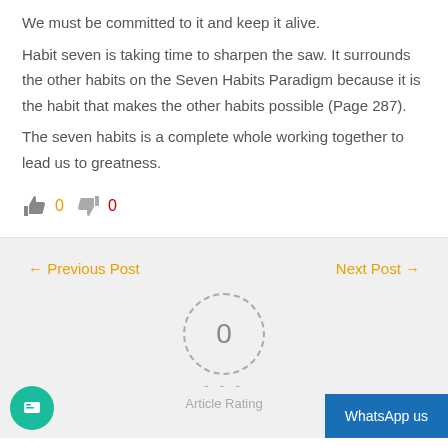We must be committed to it and keep it alive.
Habit seven is taking time to sharpen the saw. It surrounds the other habits on the Seven Habits Paradigm because it is the habit that makes the other habits possible (Page 287).
The seven habits is a complete whole working together to lead us to greatness.
[Figure (infographic): Thumbs up icon with green count 0 and thumbs down icon with red count 0]
← Previous Post
Next Post →
[Figure (infographic): Circular dashed border with rating number 0 inside, dashes below, and Article Rating label]
[Figure (infographic): Teal circular chat button on the bottom left and a blue WhatsApp us button on the bottom right]